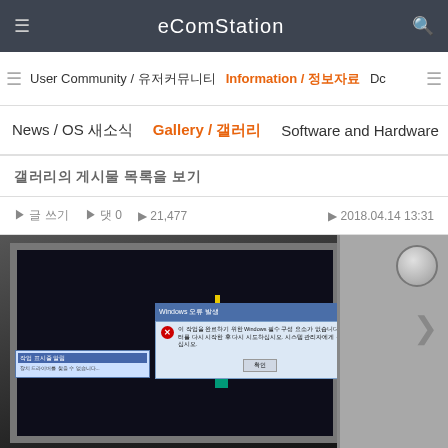eComStation
User Community / 유저커뮤니티  Information / 정보자료  Dc
News / OS 새소식  Gallery / 갤러리  Software and Hardware
갤러리의 게시물 목록을 보기
글 쓰기  댓 0  조회 21,477  작성일 2018.04.14 13:31
[Figure (photo): Photo of a computer monitor displaying a Windows error dialog box, photographed in a dark room. The monitor shows a desktop with a dialog box error message in Korean. A side panel with a knob is visible to the right.]